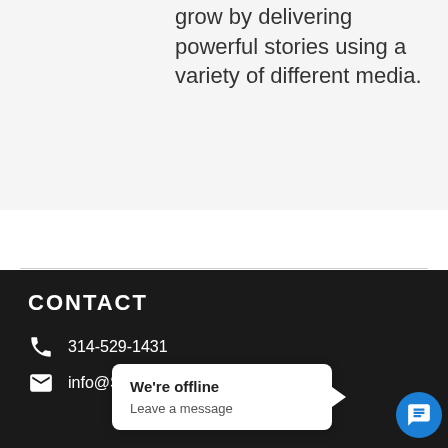grow by delivering powerful stories using a variety of different media.
CONTACT
314-529-1431
info@Stor…
[Figure (screenshot): Chat popup overlay with 'We're offline' and 'Leave a message' text, plus blue chat button]